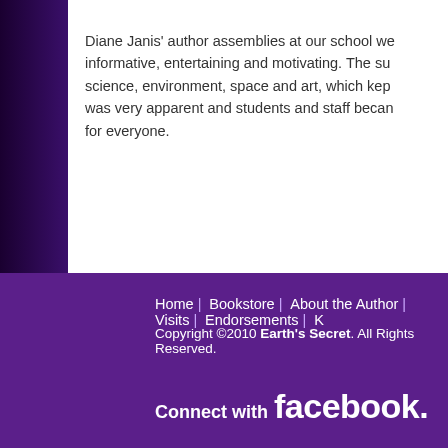Diane Janis' author assemblies at our school we informative, entertaining and motivating. The su science, environment, space and art, which kep was very apparent and students and staff becan for everyone.
PTA Assem
Home | Bookstore | About the Author | Visits | Endorsements | K
Copyright ©2010 Earth's Secret. All Rights Reserved.
Connect with facebook.